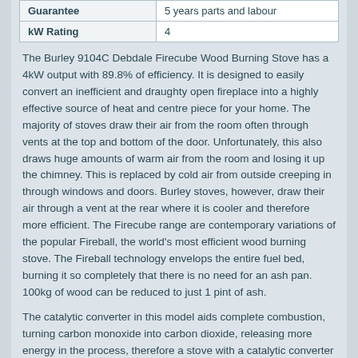| Guarantee | 5 years parts and labour |
| kW Rating | 4 |
The Burley 9104C Debdale Firecube Wood Burning Stove has a 4kW output with 89.8% of efficiency. It is designed to easily convert an inefficient and draughty open fireplace into a highly effective source of heat and centre piece for your home. The majority of stoves draw their air from the room often through vents at the top and bottom of the door. Unfortunately, this also draws huge amounts of warm air from the room and losing it up the chimney. This is replaced by cold air from outside creeping in through windows and doors. Burley stoves, however, draw their air through a vent at the rear where it is cooler and therefore more efficient. The Firecube range are contemporary variations of the popular Fireball, the world's most efficient wood burning stove. The Fireball technology envelops the entire fuel bed, burning it so completely that there is no need for an ash pan. 100kg of wood can be reduced to just 1 pint of ash.
The catalytic converter in this model aids complete combustion, turning carbon monoxide into carbon dioxide, releasing more energy in the process, therefore a stove with a catalytic converter will generally have lower CO and higher efficiency than a stove without. To see the amazing flame